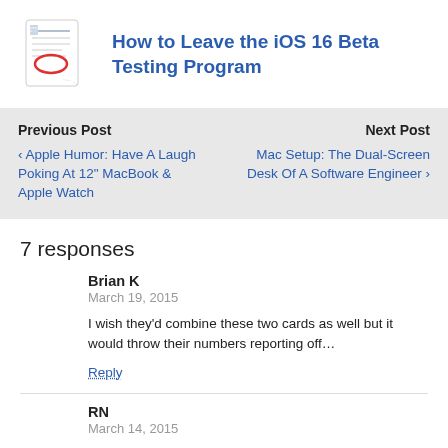[Figure (illustration): Thumbnail image of a document page with a red circle annotation]
How to Leave the iOS 16 Beta Testing Program
Previous Post
‹ Apple Humor: Have A Laugh Poking At 12" MacBook & Apple Watch
Next Post
Mac Setup: The Dual-Screen Desk Of A Software Engineer ›
7 responses
Brian K
March 19, 2015
I wish they'd combine these two cards as well but it would throw their numbers reporting off…
Reply
RN
March 14, 2015